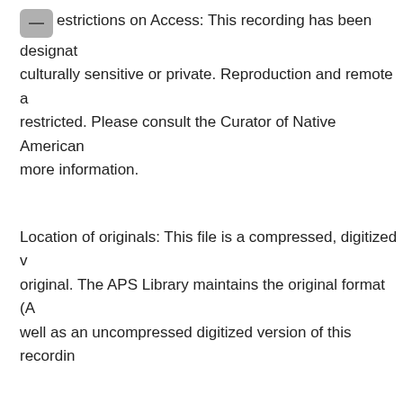Restrictions on Access: This recording has been designated culturally sensitive or private. Reproduction and remote access are restricted. Please consult the Curator of Native American Collections for more information.
Location of originals: This file is a compressed, digitized version of the original. The APS Library maintains the original format (Audio tape) as well as an uncompressed digitized version of this recording.
General physical description: 00:29:41
Geographic Name(s): Ottawa County (Okla.)
Subject(s): Seneca Indians -- Music; Cayuga dance; Cay...